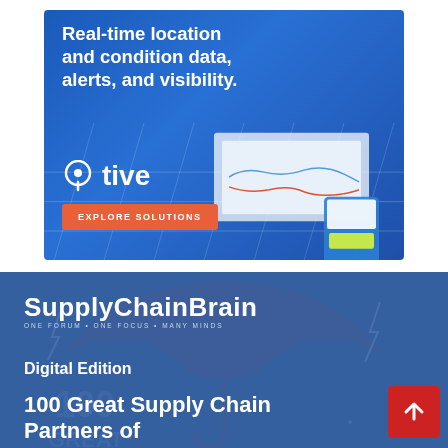[Figure (advertisement): Tive advertisement with blue background showing tracking device and map interface. Text: 'Real-time location and condition data, alerts, and visibility.' with Tive logo and 'EXPLORE SOLUTIONS' button.]
[Figure (advertisement): SupplyChainBrain Digital Edition banner with dark blue background, umbrella graphic, logo, and text '100 Great Supply Chain Partners of' with a red scroll-to-top button.]